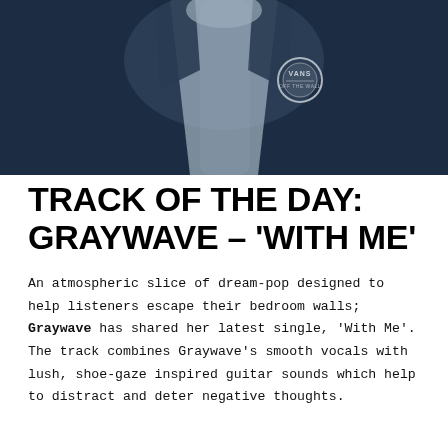[Figure (photo): Close-up photo of a person wearing a dark navy blue jacket with a Vans circular badge/logo on the chest, and a grey hoodie underneath. The image is cropped to show the torso only, in a blue-tinted monochrome style.]
TRACK OF THE DAY: GRAYWAVE – 'WITH ME'
An atmospheric slice of dream-pop designed to help listeners escape their bedroom walls; Graywave has shared her latest single, 'With Me'. The track combines Graywave's smooth vocals with lush, shoe-gaze inspired guitar sounds which help to distract and deter negative thoughts.